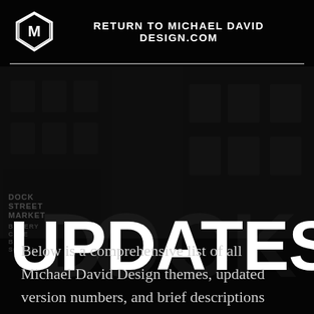RETURN TO MICHAEL DAVID DESIGN.COM
UPDATES
Below is a comprehensive list of all Michael David Design themes, updated version numbers, and brief descriptions